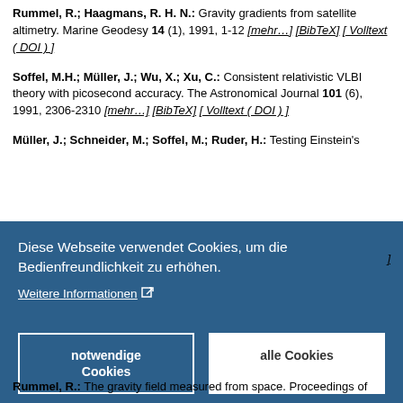Rummel, R.; Haagmans, R. H. N.: Gravity gradients from satellite altimetry. Marine Geodesy 14 (1), 1991, 1-12 [mehr…] [BibTeX] [ Volltext ( DOI ) ]
Soffel, M.H.; Müller, J.; Wu, X.; Xu, C.: Consistent relativistic VLBI theory with picosecond accuracy. The Astronomical Journal 101 (6), 1991, 2306-2310 [mehr…] [BibTeX] [ Volltext ( DOI ) ]
Müller, J.; Schneider, M.; Soffel, M.; Ruder, H.: Testing Einstein's...
[Figure (screenshot): Cookie consent overlay banner with blue background. Text reads 'Diese Webseite verwendet Cookies, um die Bedienfreundlichkeit zu erhöhen.' with a 'Weitere Informationen' link, and two buttons: 'notwendige Cookies' (outlined) and 'alle Cookies' (white filled).]
Rummel, R.: The gravity field measured from space. Proceedings of...